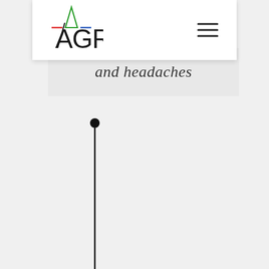[Figure (logo): AGR logo with colorful triangle accent marks above the letters, stylized text logo]
and headaches
[Figure (infographic): A vertical black timeline line with a filled black circle dot at the top, extending downward off the page]